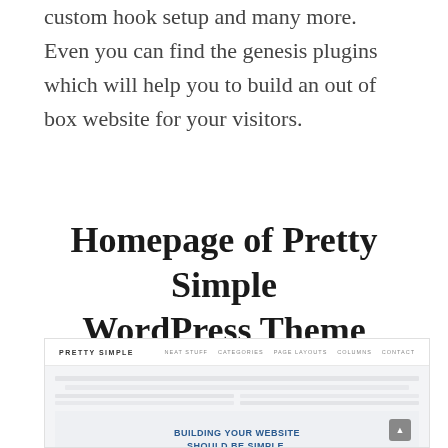custom hook setup and many more. Even you can find the genesis plugins which will help you to build an out of box website for your visitors.
Homepage of Pretty Simple WordPress Theme
[Figure (screenshot): Screenshot of the Pretty Simple WordPress Theme homepage showing a navigation bar with 'PRETTY SIMPLE' logo and menu links (NEAT STUFF, CATEGORIES, PAGE LAYOUTS, COLUMNS, CONTACT), followed by a hero section with bold blue text 'BUILDING YOUR WEBSITE SHOULD BE SIMPLE.' and a pink 'LEARN MORE HERE' button, surrounded by placeholder content stripes. A scroll-to-top button is visible in the bottom right.]